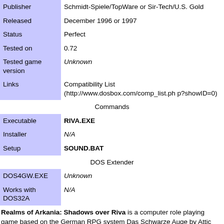| Publisher | Schmidt-Spiele/TopWare or Sir-Tech/U.S. Gold |
| Released | December 1996 or 1997 |
| Status | Perfect |
| Tested on | 0.72 |
| Tested game version | Unknown |
| Links | Compatibility List (http://www.dosbox.com/comp_list.php?showID=0) |
| Commands |  |
| Executable | RIVA.EXE |
| Installer | N/A |
| Setup | SOUND.BAT |
| DOS Extender |  |
| DOS4GW.EXE | Unknown |
| Works with DOS32A | N/A |
Realms of Arkania: Shadows over Riva is a computer role playing game based on the German RPG system Das Schwarze Auge by Attic Entertainment Software. The original German version of the game (German title: Das Schwarze Auge: Schatten über Riva) was released